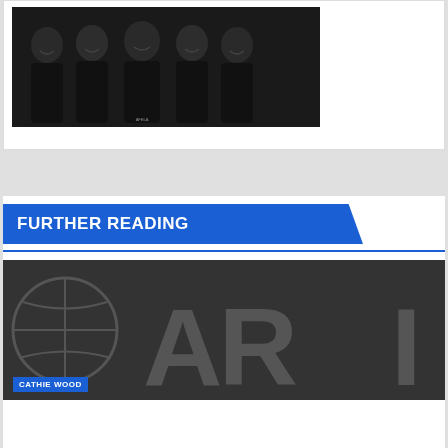[Figure (photo): Group photo of five men in black shirts against a dark background, with a small watermark text at the bottom center]
FURTHER READING
[Figure (photo): Dark background image with large letters 'ARI' and a circular logo on the left, with a blue 'CATHIE WOOD' tag at the bottom left]
[Figure (other): Advertisement banner: HC logo in yellow square, text 'View store hours, get directions, or call your salon!', orange diamond arrow icon, play and close buttons below]